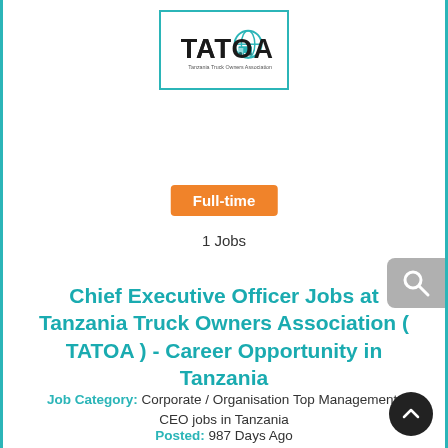[Figure (logo): TATOA - Tanzania Truck Owners Association logo. Bold black text 'TATOA' with a globe/truck icon and subtitle text below.]
Full-time
1 Jobs
Chief Executive Officer Jobs at Tanzania Truck Owners Association ( TATOA ) - Career Opportunity in Tanzania
Job Category: Corporate / Organisation Top Management, CEO jobs in Tanzania
Posted: 987 Days Ago